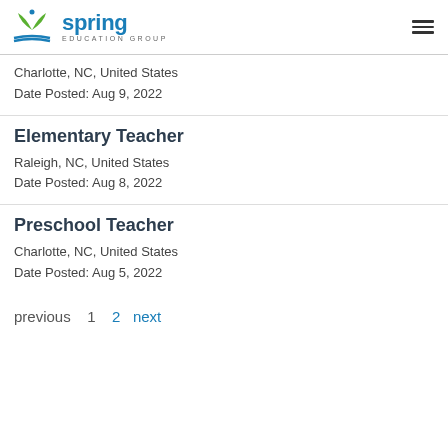Spring Education Group
Charlotte, NC, United States
Date Posted: Aug 9, 2022
Elementary Teacher
Raleigh, NC, United States
Date Posted: Aug 8, 2022
Preschool Teacher
Charlotte, NC, United States
Date Posted: Aug 5, 2022
previous  1  2  next